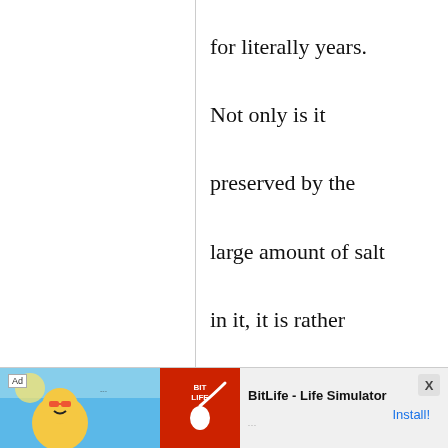for literally years. Not only is it preserved by the large amount of salt in it, it is rather self-preserving. Only super high heat is able to destroy the enzymes and cultures as I understand it. I
[Figure (other): Mobile advertisement banner for BitLife - Life Simulator app, showing colorful illustrated characters on the left, the BitLife logo (red background with sperm icon), app name 'BitLife - Life Simulator', and an 'Install!' call-to-action button. An 'Ad' label and close 'X' button are also visible.]